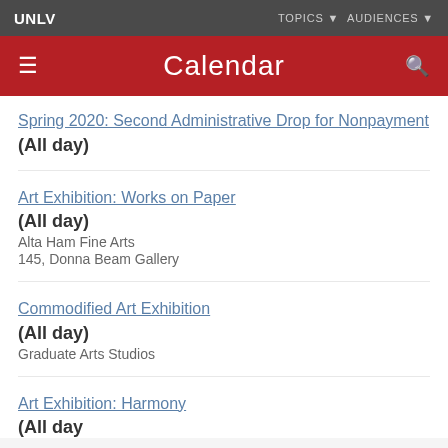UNLV — TOPICS ▼  AUDIENCES ▼
Calendar
Spring 2020: Second Administrative Drop for Nonpayment
(All day)
Art Exhibition: Works on Paper
(All day)
Alta Ham Fine Arts
145, Donna Beam Gallery
Commodified Art Exhibition
(All day)
Graduate Arts Studios
Art Exhibition: Harmony
(All day)